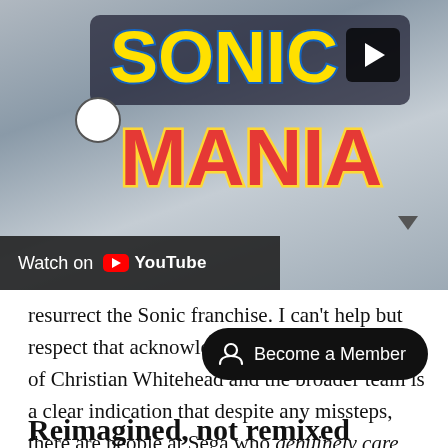[Figure (screenshot): Sonic Mania YouTube video thumbnail with 'Watch on YouTube' overlay bar at bottom left. The thumbnail shows the Sonic Mania game logo in colorful bold lettering against a blurred background. A play button icon appears in the upper right.]
resurrect the Sonic franchise. I can't help but respect that acknowledgement; their backing of Christian Whitehead and the broader team is a clear indication that despite any missteps, there are people at Sega who genuinely care about doing justice to the legendary mascot.
Reimagined, not remixed